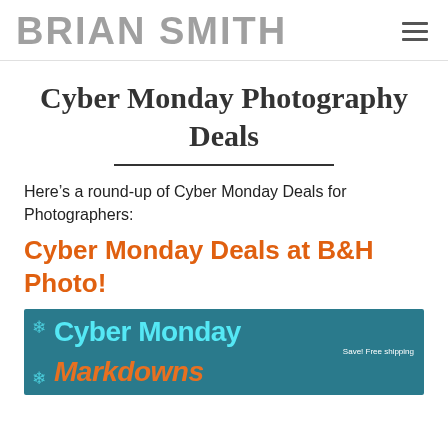BRIAN SMITH
Cyber Monday Photography Deals
Here’s a round-up of Cyber Monday Deals for Photographers:
Cyber Monday Deals at B&H Photo!
[Figure (photo): Promotional banner image for Cyber Monday Markdowns with teal background, cyan 'Cyber Monday' text and orange 'Markdowns' text, with a free shipping badge on the right.]